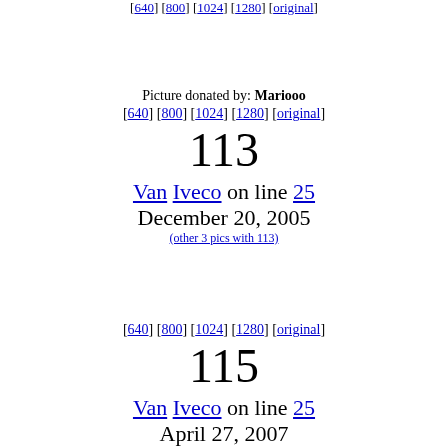Picture donated by: Mariooo
[640] [800] [1024] [1280] [original]
113
Van Iveco on line 25
December 20, 2005
(other 3 pics with 113)
[640] [800] [1024] [1280] [original]
115
Van Iveco on line 25
April 27, 2007
(other pic with 115)